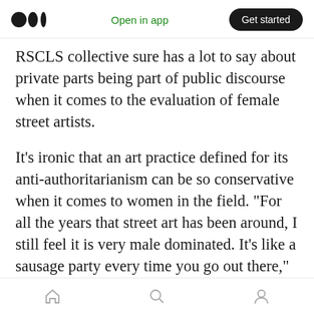Medium logo | Open in app | Get started
RSCLS collective sure has a lot to say about private parts being part of public discourse when it comes to the evaluation of female street artists.
It’s ironic that an art practice defined for its anti-authoritarianism can be so conservative when it comes to women in the field. “For all the years that street art has been around, I still feel it is very male dominated. It’s like a sausage party every time you go out there,” reveals Spaz, otherwise known as Laurie Maravilla. She doesn’t let it define her, much like one of her European sisters, Anthea Missy (L’art de la rue
Home | Search | Profile